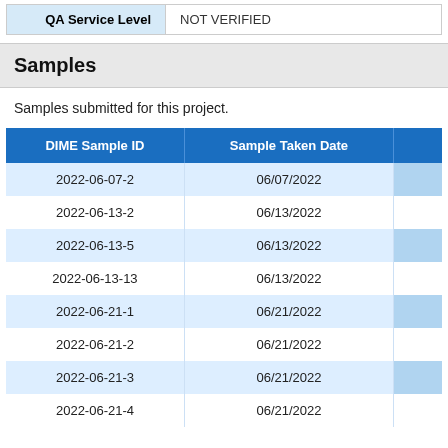| QA Service Level |  |
| --- | --- |
| QA Service Level | NOT VERIFIED |
Samples
Samples submitted for this project.
| DIME Sample ID | Sample Taken Date |
| --- | --- |
| 2022-06-07-2 | 06/07/2022 |
| 2022-06-13-2 | 06/13/2022 |
| 2022-06-13-5 | 06/13/2022 |
| 2022-06-13-13 | 06/13/2022 |
| 2022-06-21-1 | 06/21/2022 |
| 2022-06-21-2 | 06/21/2022 |
| 2022-06-21-3 | 06/21/2022 |
| 2022-06-21-4 | 06/21/2022 |